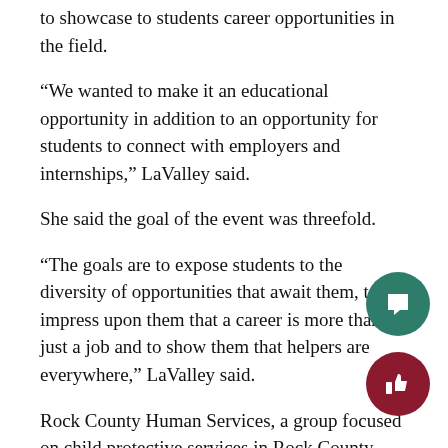to showcase to students career opportunities in the field.
“We wanted to make it an educational opportunity in addition to an opportunity for students to connect with employers and internships,” LaValley said.
She said the goal of the event was threefold.
“The goals are to expose students to the diversity of opportunities that await them, to impress upon them that a career is more than just a job and to show them that helpers are everywhere,” LaValley said.
Rock County Human Services, a group focused on child protective services in Rock County, hosted a booth at the event hoping to inform students and find some interns s employee Valerie Alvarez.
They agreed to be part of the first-annual event because last experiences with Warhawks.